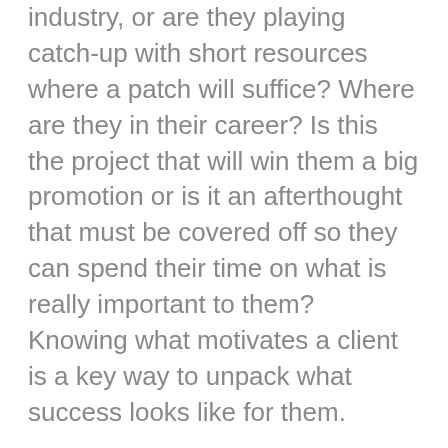industry, or are they playing catch-up with short resources where a patch will suffice? Where are they in their career? Is this the project that will win them a big promotion or is it an afterthought that must be covered off so they can spend their time on what is really important to them? Knowing what motivates a client is a key way to unpack what success looks like for them.
Who decides? When selling services to large organizations, there is never a single decision-